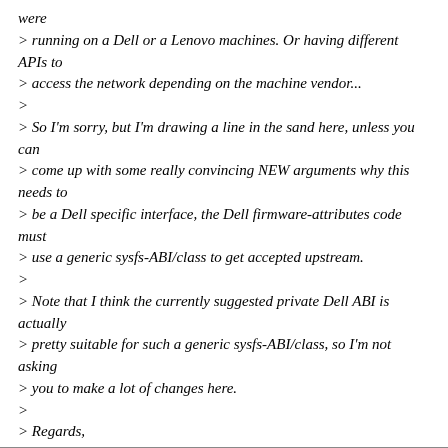were
> running on a Dell or a Lenovo machines. Or having different APIs to
> access the network depending on the machine vendor...
>
> So I'm sorry, but I'm drawing a line in the sand here, unless you can
> come up with some really convincing NEW arguments why this needs to
> be a Dell specific interface, the Dell firmware-attributes code must
> use a generic sysfs-ABI/class to get accepted upstream.
>
> Note that I think the currently suggested private Dell ABI is actually
> pretty suitable for such a generic sysfs-ABI/class, so I'm not asking
> you to make a lot of changes here.
>
> Regards,
>
> Hans
We'll try this for the v4 patch series.